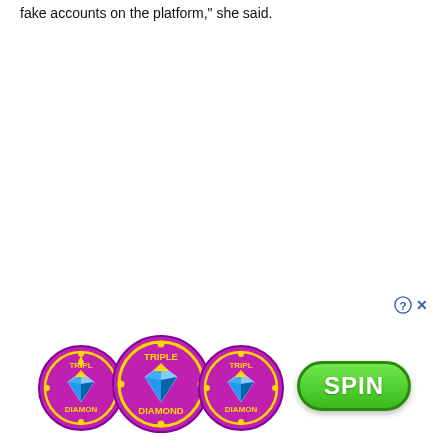fake accounts on the platform," she said.
[Figure (illustration): Triple Diamond slot machine advertisement with three Triple Diamond coin logos and a green SPIN button]